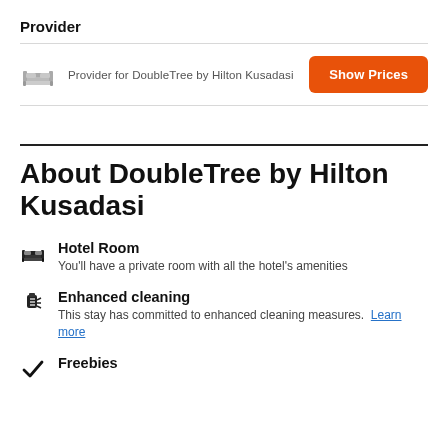Provider
Provider for DoubleTree by Hilton Kusadasi
Show Prices
About DoubleTree by Hilton Kusadasi
Hotel Room
You'll have a private room with all the hotel's amenities
Enhanced cleaning
This stay has committed to enhanced cleaning measures. Learn more
Freebies